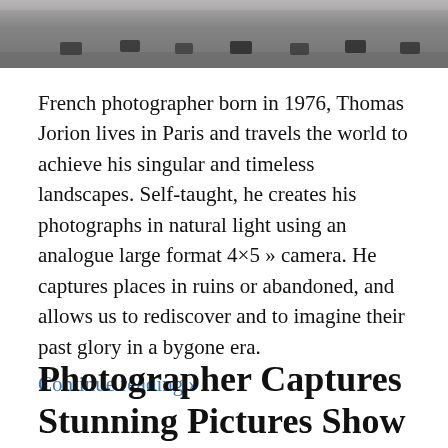[Figure (photo): Top portion of a photograph showing what appears to be an aerial or elevated view of a road with cars, in grayscale tones]
French photographer born in 1976, Thomas Jorion lives in Paris and travels the world to achieve his singular and timeless landscapes. Self-taught, he creates his photographs in natural light using an analogue large format 4×5 » camera. He captures places in ruins or abandoned, and allows us to rediscover and to imagine their past glory in a bygone era.
Continue reading »
Photographer Captures Stunning Pictures Show The